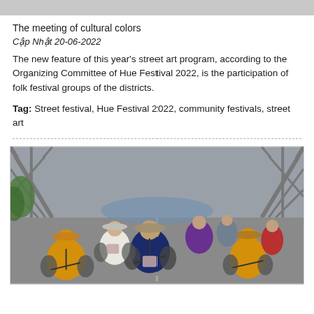[Figure (photo): Top strip showing a partial image, appears grayish/blurred]
The meeting of cultural colors
Cập Nhật 20-06-2022
The new feature of this year's street art program, according to the Organizing Committee of Hue Festival 2022, is the participation of folk festival groups of the districts.
Tag: Street festival, Hue Festival 2022, community festivals, street art
[Figure (photo): A group of people in traditional Vietnamese clothing riding bicycles across a bridge. They are wearing conical hats and colorful ao dai garments in yellow, blue, purple, red and white. The bridge has a steel truss structure overhead.]